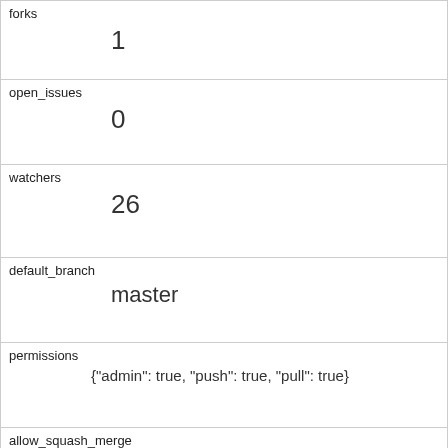| forks | 1 |
| open_issues | 0 |
| watchers | 26 |
| default_branch | master |
| permissions | {"admin": true, "push": true, "pull": true} |
| allow_squash_merge |  |
| allow_merge_commit |  |
| allow_rebase_merge |  |
| network_count |  |
| subscribers_count |  |
| organization |  |